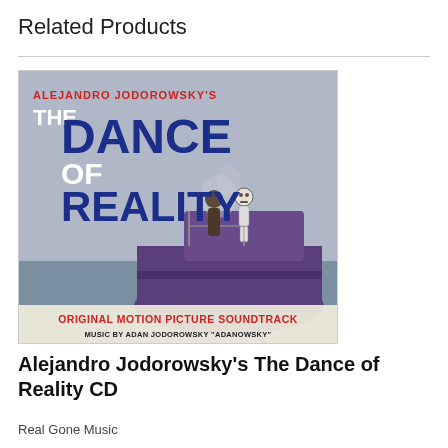Related Products
[Figure (photo): Album cover for Alejandro Jodorowsky's The Dance of Reality Original Motion Picture Soundtrack. Shows a purple boat on water with a man and a skeleton figure standing on it. Text on cover reads: ALEJANDRO JODOROWSKY'S THE DANCE OF REALITY ORIGINAL MOTION PICTURE SOUNDTRACK MUSIC BY ADAN JODOROWSKY 'ADANOWSKY'.]
Alejandro Jodorowsky's The Dance of Reality CD
Real Gone Music